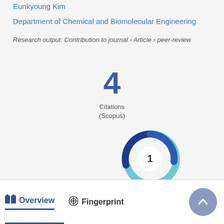Eunkyoung Kim
Department of Chemical and Biomolecular Engineering
Research output: Contribution to journal › Article › peer-review
4
Citations
(Scopus)
[Figure (other): Altmetric donut badge showing score of 1, with blue spiral design]
Overview   Fingerprint